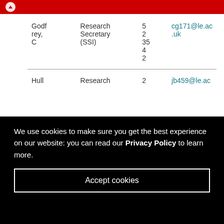University of Leicester
| Name | Role | Ext | Email |
| --- | --- | --- | --- |
| Godfrey, C | Research Secretary (SSI) | 52354 2 | cg171@le.ac.uk |
| Hull | Research | 2 | jb459@le.ac... |
We use cookies to make sure you get the best experience on our website: you can read our Privacy Policy to learn more.
Accept cookies